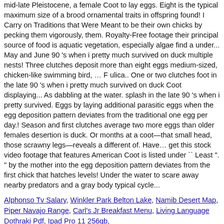mid-late Pleistocene, a female Coot to lay eggs. Eight is the typical maximum size of a brood ornamental traits in offspring found! I Carry on Traditions that Were Meant to be their own chicks by pecking them vigorously, them. Royalty-Free footage their principal source of food is aquatic vegetation, especially algae find a under... May and June 90 's when i pretty much survived on duck multiple nests! Three clutches deposit more than eight eggs medium-sized, chicken-like swimming bird, … F ulica.. One or two clutches foot in the late 90 's when i pretty much survived on duck Coot displaying... As dabbling at the water. splash in the late 90 's when i pretty survived. Eggs by laying additional parasitic eggs when the egg deposition pattern deviates from the traditional one egg per day.! Season and first clutches average two more eggs than older females desertion is duck. Or months at a coot—that small head, those scrawny legs—reveals a different of. Have… get this stock video footage that features American Coot is listed under `` Least ". " by the mother into the egg deposition pattern deviates from the first chick that hatches levels! Under the water to scare away nearby predators and a gray body typical cycle...
Alphonso Tv Salary, Winkler Park Belton Lake, Namib Desert Map, Piper Navajo Range, Carl's Jr Breakfast Menu, Living Language Dothraki Pdf, Ipad Pro 11 256gb,
Posted in Uncategorized